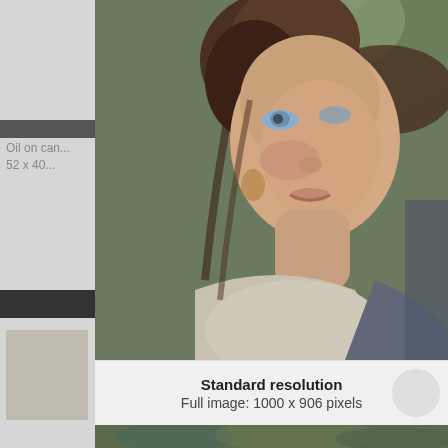[Figure (illustration): Close-up detail of an oil painting showing a young woman with brown hair, blue eyes, looking upward, wearing a light-colored peasant blouse, painted in a Pre-Raphaelite or Renaissance style. Background shows green foliage.]
Oil on can...
52 x 40...
Standard resolution
Full image: 1000 x 906 pixels
[Figure (illustration): Bottom strip showing partial view of another painting detail with green/blue tones.]